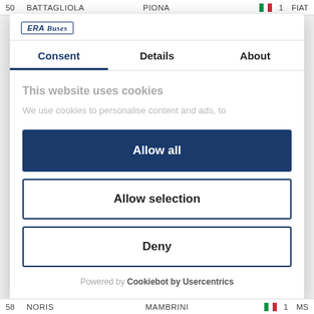50   BATTAGLIOLA   PIONA   [IT flag]   1   FIAT
[Figure (logo): Cookiebot/website logo in top-left of modal, italic bold text in blue border box]
Consent   Details   About
This website uses cookies
We use cookies to personalise content and ads, to
Allow all
Allow selection
Deny
Powered by Cookiebot by Usercentrics
58   NORIS   MAMBRINI   [IT flag]   1   MS